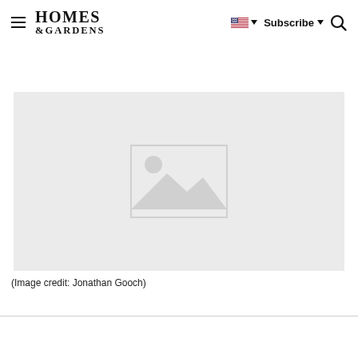HOMES & GARDENS — Subscribe — Search
[Figure (photo): Placeholder image with grey background and image icon (mountain/sun silhouette)]
(Image credit: Jonathan Gooch)